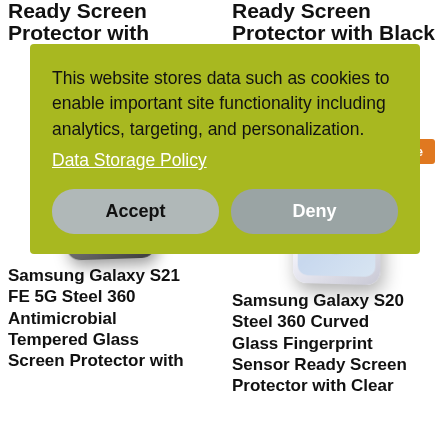Ready Screen Protector with (truncated top-left)
Ready Screen Protector with Black ignment ure Pledge (truncated top-right)
9 (price, red, partially visible)
[Figure (photo): Samsung Galaxy S21 FE 5G smartphone at an angle, dark color]
[Figure (photo): Samsung Galaxy S20 smartphone at an angle, silver/gray color, with Sale badge in orange]
Sale
Samsung Galaxy S21 FE 5G Steel 360 Antimicrobial Tempered Glass Screen Protector with
Samsung Galaxy S20 Steel 360 Curved Glass Fingerprint Sensor Ready Screen Protector with Clear
[Figure (screenshot): Cookie consent overlay on yellow-green background with text: 'This website stores data such as cookies to enable important site functionality including analytics, targeting, and personalization. Data Storage Policy' and Accept/Deny buttons]